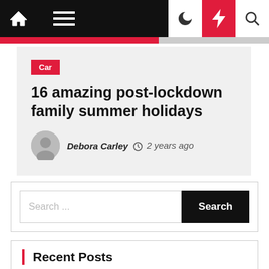Navigation bar with home, menu, dark mode, lightning, and search icons
Car
16 amazing post-lockdown family summer holidays
Debora Carley  2 years ago
Search ...
Recent Posts